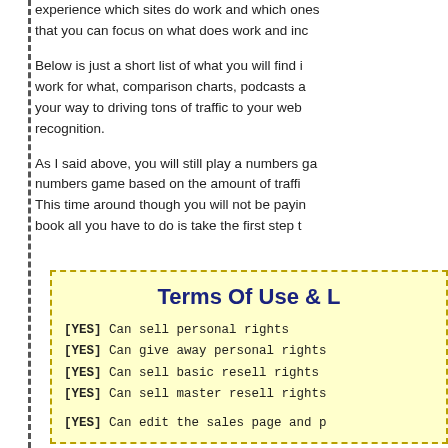experience which sites do work and which ones do not, so that you can focus on what does work and increase...
Below is just a short list of what you will find inside: work for what, comparison charts, podcasts and... your way to driving tons of traffic to your web... recognition.
As I said above, you will still play a numbers game based on the amount of traffic... This time around though you will not be paying... book all you have to do is take the first step to...
Terms Of Use & L
[YES] Can sell personal rights
[YES] Can give away personal rights
[YES] Can sell basic resell rights
[YES] Can sell master resell rights
[YES] Can edit the sales page and p